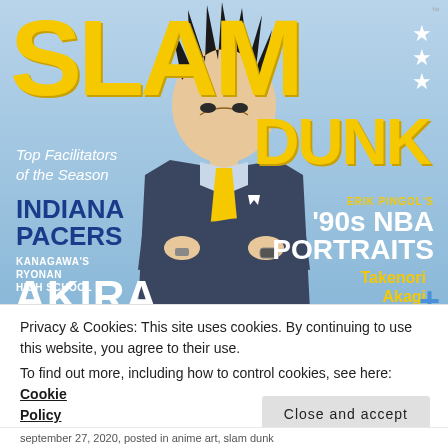[Figure (illustration): SLAM DUNK magazine cover illustration featuring an anime character in a dark suit with yellow tie, spiky black hair, arms crossed. Yellow SLAM text at top, DUNK on right side. Stars on top right. Various text overlays: Top Facilitators of the Season, Indiana Pacers, Kanagawa's Ryonan High School, AKIRA on left; Erik Pingol's '90s NBA PORTRAITS, Takenori Akagi, + on right. Blue/light sky background.]
Privacy & Cookies: This site uses cookies. By continuing to use this website, you agree to their use.
To find out more, including how to control cookies, see here: Cookie Policy
Close and accept
september 27, 2020, posted in anime art, slam dunk